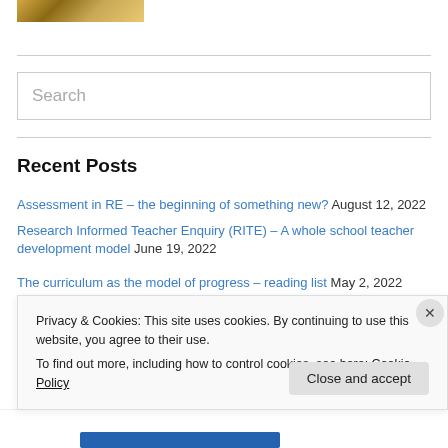[Figure (photo): Partial photo strip at top of page showing food or similar scene]
[Figure (other): Search input box with placeholder text]
Recent Posts
Assessment in RE – the beginning of something new? August 12, 2022
Research Informed Teacher Enquiry (RITE) – A whole school teacher development model June 19, 2022
The curriculum as the model of progress – reading list May 2, 2022
Privacy & Cookies: This site uses cookies. By continuing to use this website, you agree to their use.
To find out more, including how to control cookies, see here: Cookie Policy
Close and accept